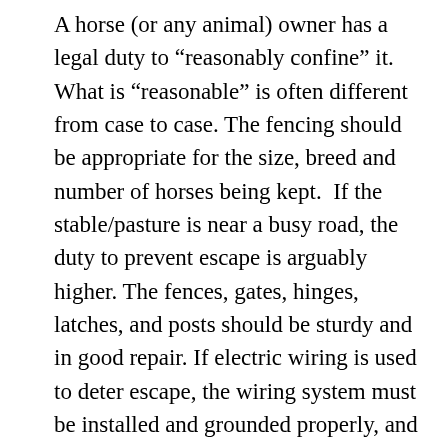A horse (or any animal) owner has a legal duty to “reasonably confine” it. What is “reasonable” is often different from case to case. The fencing should be appropriate for the size, breed and number of horses being kept.  If the stable/pasture is near a busy road, the duty to prevent escape is arguably higher. The fences, gates, hinges, latches, and posts should be sturdy and in good repair. If electric wiring is used to deter escape, the wiring system must be installed and grounded properly, and routinely inspected. Because horses are known to try to escape, there should be back-up systems.  Each gate should have a double lock.  A horse should have to get out of at